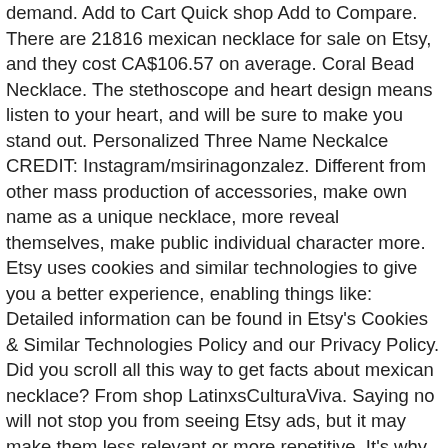demand. Add to Cart Quick shop Add to Compare. There are 21816 mexican necklace for sale on Etsy, and they cost CA$106.57 on average. Coral Bead Necklace. The stethoscope and heart design means listen to your heart, and will be sure to make you stand out. Personalized Three Name Neckalce CREDIT: Instagram/msirinagonzalez. Different from other mass production of accessories, make own name as a unique necklace, more reveal themselves, make public individual character more. Etsy uses cookies and similar technologies to give you a better experience, enabling things like: Detailed information can be found in Etsy's Cookies & Similar Technologies Policy and our Privacy Policy. Did you scroll all this way to get facts about mexican necklace? From shop LatinxsCulturaViva. Saying no will not stop you from seeing Etsy ads, but it may make them less relevant or more repetitive. It's why, after the second time I lost my nameplate necklace, it felt like tragedy had struck and was left completely devastated. $5.99 $ 5. The most common nameplate necklace material is metal. Personalized Nameplate Necklace 18K Gold Plated - A lovely gift for any woman on your list, our stunning english111 style nameplate necklace will complete her outfit in trendy style. Up to 40% off on our products with FREE shipping! You can choose up to 9 letters total. $26.99. Customizable. Get the unique personalized name necklace, bracelets, rings and Custom Jewelry from My Own Necklace. You'll see ad results based on factors like relevance, and the amount sellers pay per click. Some of the technologies we use are necessary for critical functions like security and site